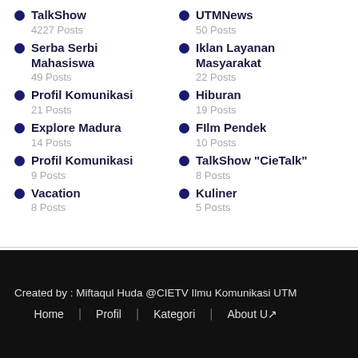TalkShow
4227 Posts
UTMNews
50 Posts
Serba Serbi Mahasiswa
49 Posts
Iklan Layanan Masyarakat
22 Posts
Profil Komunikasi
21 Posts
Hiburan
19 Posts
Explore Madura
14 Posts
FIlm Pendek
10 Posts
Profil Komunikasi
9 Posts
TalkShow "CieTalk"
8 Posts
Vacation
8 Posts
Kuliner
5 Posts
Created by : Miftaqul Huda @CIETV Ilmu Komunikasi UTM
Home | Profil | Kategori | About Us